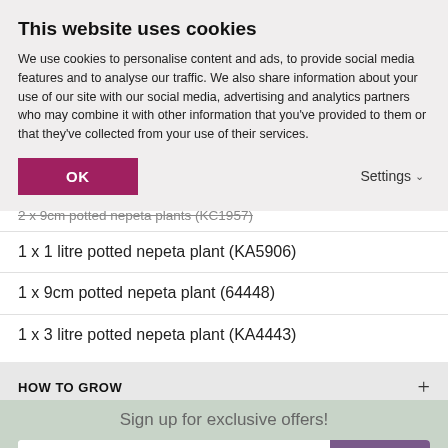This website uses cookies
We use cookies to personalise content and ads, to provide social media features and to analyse our traffic. We also share information about your use of our site with our social media, advertising and analytics partners who may combine it with other information that you've provided to them or that they've collected from your use of their services.
2 x 9cm potted nepeta plants (KC1957)
1 x 1 litre potted nepeta plant (KA5906)
1 x 9cm potted nepeta plant (64448)
1 x 3 litre potted nepeta plant (KA4443)
HOW TO GROW
Sign up for exclusive offers!